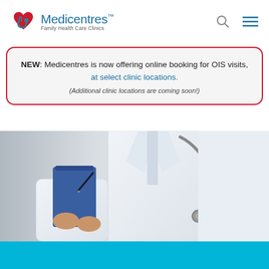[Figure (logo): Medicentres logo with heart/stethoscope icon, brand name 'Medicentres' in blue with trademark symbol, tagline 'Family Health Care Clinics']
NEW: Medicentres is now offering online booking for OIS visits, at select clinic locations. (Additional clinic locations are coming soon!)
[Figure (photo): Doctor in white coat with stethoscope holding a clipboard/blue folder, grayscale to color photo]
[Figure (other): Teal/cyan colored bar at the bottom of the page]